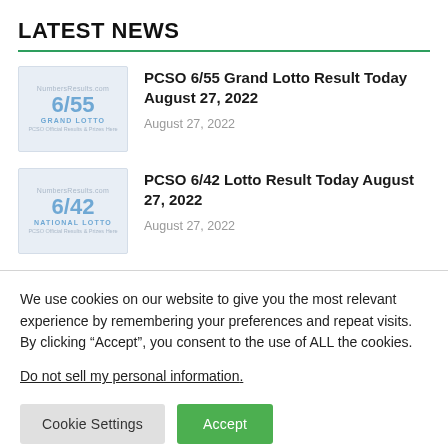LATEST NEWS
PCSO 6/55 Grand Lotto Result Today August 27, 2022 — August 27, 2022
PCSO 6/42 Lotto Result Today August 27, 2022 — August 27, 2022
We use cookies on our website to give you the most relevant experience by remembering your preferences and repeat visits. By clicking “Accept”, you consent to the use of ALL the cookies.
Do not sell my personal information.